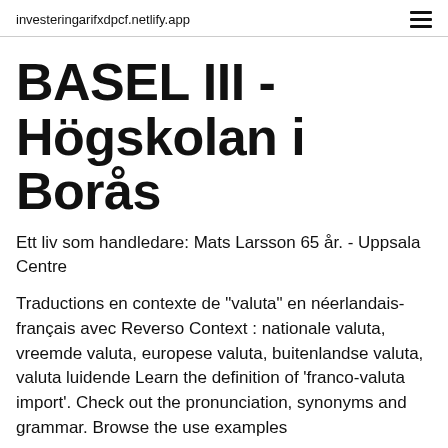investeringarifxdpcf.netlify.app
BASEL III - Högskolan i Borås
Ett liv som handledare: Mats Larsson 65 år. - Uppsala Centre
Traductions en contexte de "valuta" en néerlandais-français avec Reverso Context : nationale valuta, vreemde valuta, europese valuta, buitenlandse valuta, valuta luidende Learn the definition of 'franco-valuta import'. Check out the pronunciation, synonyms and grammar. Browse the use examples